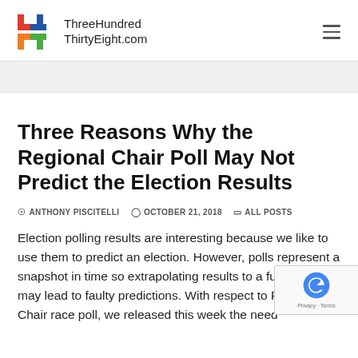ThreeHundredThirtyEight.com
Three Reasons Why the Regional Chair Poll May Not Predict the Election Results
ANTHONY PISCITELLI   OCTOBER 21, 2018   ALL POSTS
Election polling results are interesting because we like to use them to predict an election. However, polls represent a snapshot in time so extrapolating results to a future event may lead to faulty predictions. With respect to Regional Chair race poll, we released this week the need